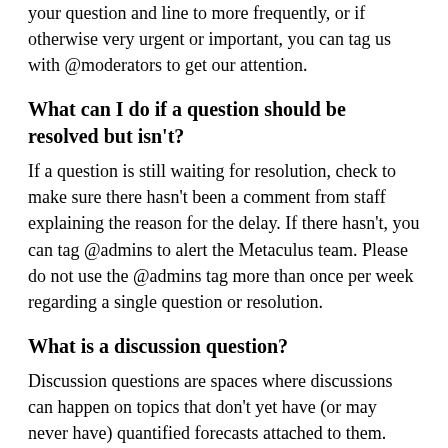your question and line to more frequently, or if otherwise very urgent or important, you can tag us with @moderators to get our attention.
What can I do if a question should be resolved but isn't?
If a question is still waiting for resolution, check to make sure there hasn't been a comment from staff explaining the reason for the delay. If there hasn't, you can tag @admins to alert the Metaculus team. Please do not use the @admins tag more than once per week regarding a single question or resolution.
What is a discussion question?
Discussion questions are spaces where discussions can happen on topics that don't yet have (or may never have) quantified forecasts attached to them. They can be useful places for the community to have discussions when no other space is available, or for the Metaculus